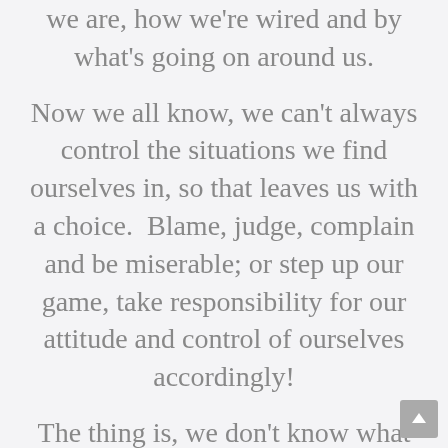we are, how we're wired and by what's going on around us.
Now we all know, we can't always control the situations we find ourselves in, so that leaves us with a choice.  Blame, judge, complain and be miserable; or step up our game, take responsibility for our attitude and control of ourselves accordingly!
The thing is, we don't know what we don't know.  We do what we do because it's what we've always